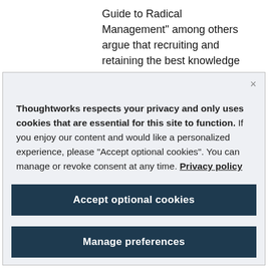Guide to Radical Management" among others argue that recruiting and retaining the best knowledge workers now requires something far better than “carrot and stick” incentives.
Thoughtworks respects your privacy and only uses cookies that are essential for this site to function. If you enjoy our content and would like a personalized experience, please “Accept optional cookies”. You can manage or revoke consent at any time. Privacy policy
Accept optional cookies
Manage preferences